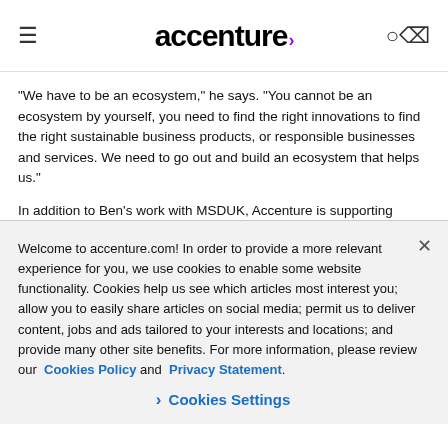accenture
“We have to be an ecosystem,” he says. “You cannot be an ecosystem by yourself, you need to find the right innovations to find the right sustainable business products, or responsible businesses and services. We need to go out and build an ecosystem that helps us.”
In addition to Ben’s work with MSDUK, Accenture is supporting similar NGOs around the world at board level to help prepare small businesses for the future.
Welcome to accenture.com! In order to provide a more relevant experience for you, we use cookies to enable some website functionality. Cookies help us see which articles most interest you; allow you to easily share articles on social media; permit us to deliver content, jobs and ads tailored to your interests and locations; and provide many other site benefits. For more information, please review our  Cookies Policy and  Privacy Statement.
› Cookies Settings